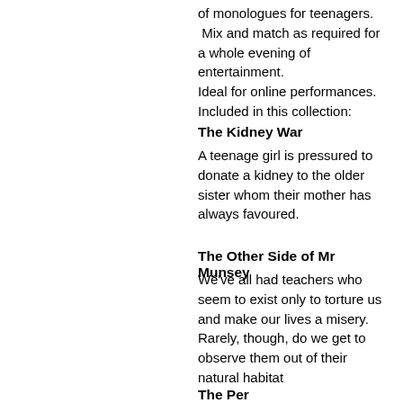of monologues for teenagers.   Mix and match as required for a whole evening of entertainment.
Ideal for online performances.
Included in this collection:
The Kidney War
A teenage girl is pressured to donate a kidney to the older sister whom their mother has always favoured.
The Other Side of Mr Munsey
We've all had teachers who seem to exist only to torture us and make our lives a misery. Rarely, though, do we get to observe them out of their natural habitat
The Perso...